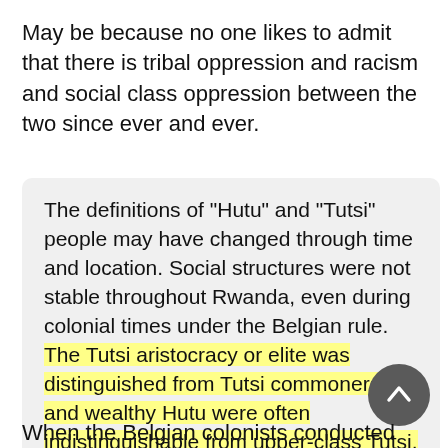May be because no one likes to admit that there is tribal oppression and racism and social class oppression between the two since ever and ever.
The definitions of "Hutu" and "Tutsi" people may have changed through time and location. Social structures were not stable throughout Rwanda, even during colonial times under the Belgian rule. The Tutsi aristocracy or elite was distinguished from Tutsi commoners, and wealthy Hutu were often indistinguishable from upper-class Tutsi.
When the Belgian colonists conducted